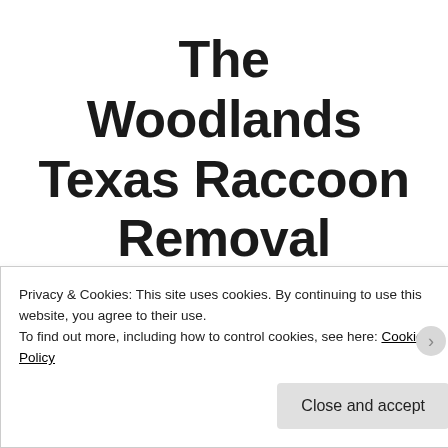The Woodlands Texas Raccoon Removal
The Woodlands
Privacy & Cookies: This site uses cookies. By continuing to use this website, you agree to their use.
To find out more, including how to control cookies, see here: Cookie Policy
Close and accept